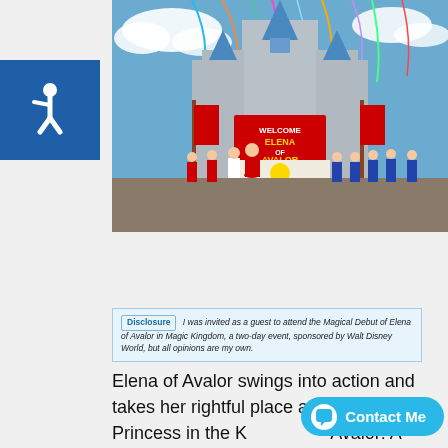[Figure (photo): Cinderella Castle at Magic Kingdom decorated with colorful streamers and a red banner reading 'Welcome Elena of Avalor'. Characters in costume perform in front of the castle including Elena in a red dress, a woman in white, and musicians in blue and yellow outfits.]
Disclosure: I was invited as a guest to attend the Magical Debut of Elena of Avalor in Magic Kingdom, a two-day event, sponsored by Walt Disney World, but all opinions are my own.
Elena of Avalor swings into action and takes her rightful place as Crown Princess in the Kingdom of Avalor! A beautiful fairy tale inspired by diverse